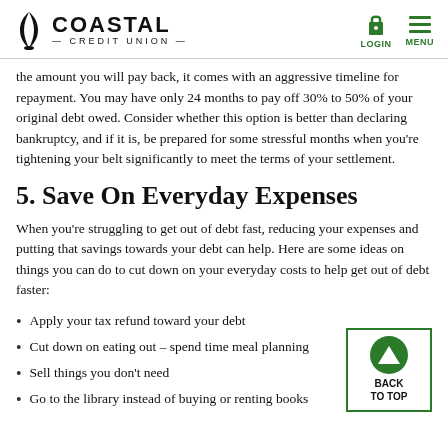Coastal Credit Union — LOGIN MENU
the amount you will pay back, it comes with an aggressive timeline for repayment. You may have only 24 months to pay off 30% to 50% of your original debt owed. Consider whether this option is better than declaring bankruptcy, and if it is, be prepared for some stressful months when you're tightening your belt significantly to meet the terms of your settlement.
5. Save On Everyday Expenses
When you're struggling to get out of debt fast, reducing your expenses and putting that savings towards your debt can help. Here are some ideas on things you can do to cut down on your everyday costs to help get out of debt faster:
Apply your tax refund toward your debt
Cut down on eating out – spend time meal planning
Sell things you don't need
Go to the library instead of buying or renting books